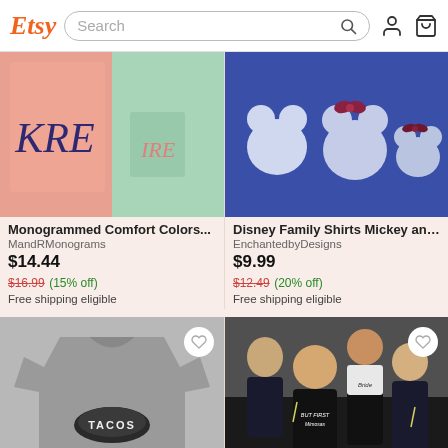Etsy | Search
[Figure (photo): Monogrammed comfort colors t-shirts in pink and mint with embroidered script monograms]
Monogrammed Comfort Colors...
MandRMonograms
$14.44
$16.99 (15% off)
Free shipping eligible
[Figure (photo): Blue Disney family shirts with sequin Mickey and Minnie Mouse designs]
Disney Family Shirts Mickey and...
EnchantedbyDesigns
$9.99
$12.49 (20% off)
Free shipping eligible
[Figure (photo): Gray t-shirt with TACOS text in arch on front]
[Figure (photo): Group of women in black bridesmaids shirts with BUT FIRST Mimosas text, bride in white]